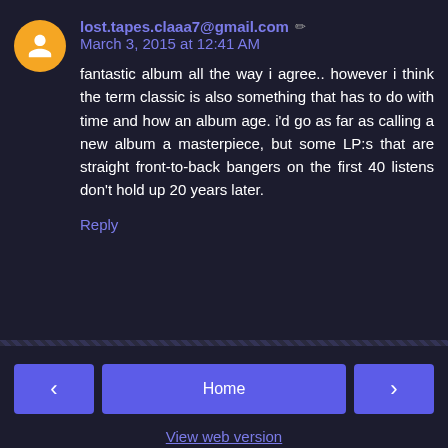lost.tapes.claaa7@gmail.com ✏ March 3, 2015 at 12:41 AM
fantastic album all the way i agree.. however i think the term classic is also something that has to do with time and how an album age. i'd go as far as calling a new album a masterpiece, but some LP:s that are straight front-to-back bangers on the first 40 listens don't hold up 20 years later.
Reply
Home
View web version
Copyright Disclaimer